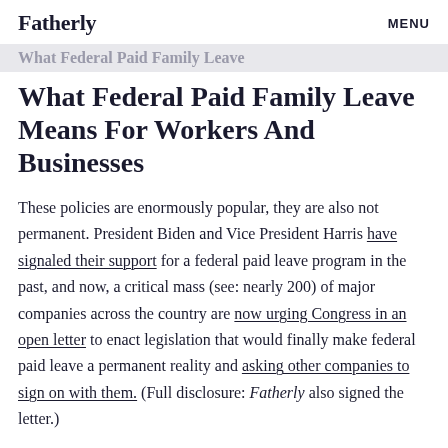Fatherly   MENU
What Federal Paid Family Leave Means For Workers And Businesses
These policies are enormously popular, they are also not permanent. President Biden and Vice President Harris have signaled their support for a federal paid leave program in the past, and now, a critical mass (see: nearly 200) of major companies across the country are now urging Congress in an open letter to enact legislation that would finally make federal paid leave a permanent reality and asking other companies to sign on with them. (Full disclosure: Fatherly also signed the letter.)